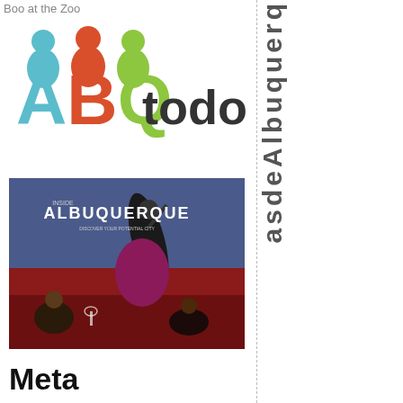Boo at the Zoo
[Figure (logo): ABQtodo logo with colored figures above stylized ABQ letters in teal, red, and green, followed by 'todo' in dark gray]
[Figure (photo): Cover of Albuquerque magazine showing a flamenco dancer performing on stage with audience seated at tables below]
Meta
asdeAlbuquerq